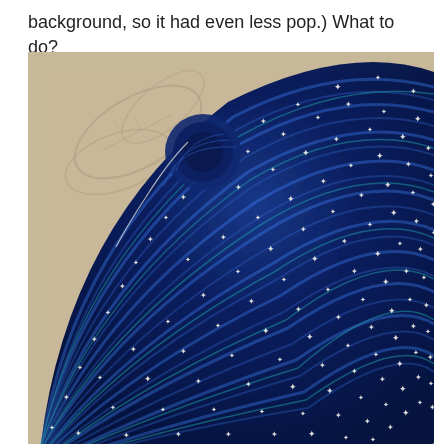background, so it had even less pop.) What to do?
[Figure (photo): A blue knitted shawl or blanket with white star patterns arranged in concentric arcs, laid on a beige surface with embossed leaf designs. The knitting is dark royal blue with white/cream star motifs and subtle teal highlights throughout.]